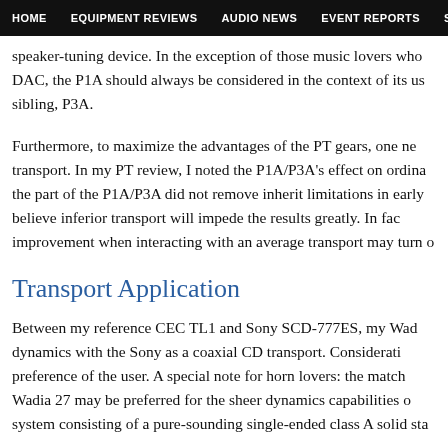HOME   EQUIPMENT REVIEWS   AUDIO NEWS   EVENT REPORTS   S
speaker-tuning device. In the exception of those music lovers who DAC, the P1A should always be considered in the context of its us sibling, P3A.
Furthermore, to maximize the advantages of the PT gears, one ne transport. In my PT review, I noted the P1A/P3A's effect on ordina the part of the P1A/P3A did not remove inherit limitations in early believe inferior transport will impede the results greatly. In fac improvement when interacting with an average transport may turn o
Transport Application
Between my reference CEC TL1 and Sony SCD-777ES, my Wad dynamics with the Sony as a coaxial CD transport. Considerati preference of the user. A special note for horn lovers: the match Wadia 27 may be preferred for the sheer dynamics capabilities o system consisting of a pure-sounding single-ended class A solid sta